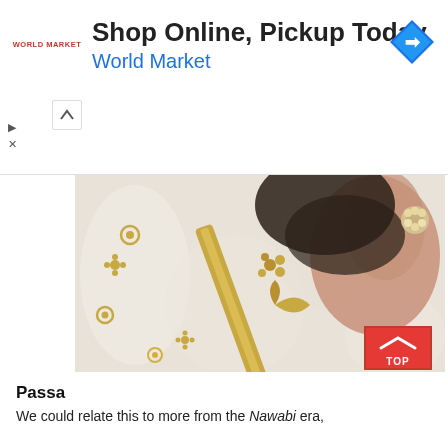[Figure (infographic): World Market advertisement banner with logo on left, bold text 'Shop Online, Pickup Today' and blue 'World Market' brand name, blue diamond navigation icon on right, play and close controls on far left]
[Figure (photo): Close-up photograph of a woman wearing a white saree with gold embroidery and borders, holding her dark hair, wearing a decorative gold and pearl ring]
Passa
We could relate this to more from the Nawabi era,